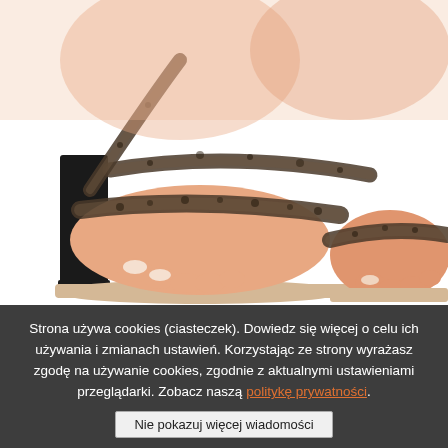[Figure (photo): Close-up photo of a woman's feet wearing leopard print leather sandals with block heels on a white background.]
Women's Leather Sandals On A Heel Maciejka 05592-01 Black
72,50 USD  67,50 USD
39
Strona używa cookies (ciasteczek). Dowiedz się więcej o celu ich używania i zmianach ustawień. Korzystając ze strony wyrażasz zgodę na używanie cookies, zgodnie z aktualnymi ustawieniami przeglądarki. Zobacz naszą politykę prywatności.
Nie pokazuj więcej wiadomości